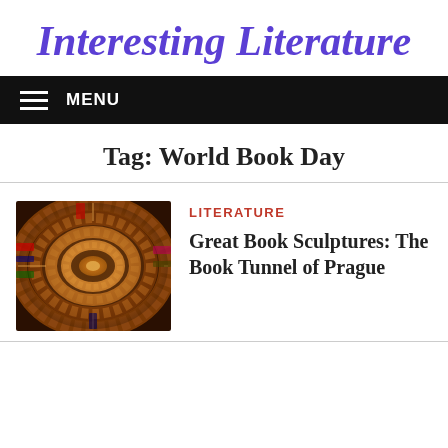Interesting Literature
MENU
Tag: World Book Day
LITERATURE
[Figure (photo): Looking up through a spiral tunnel made of books, showing circular book spines converging to a central point, warm orange and brown tones]
Great Book Sculptures: The Book Tunnel of Prague